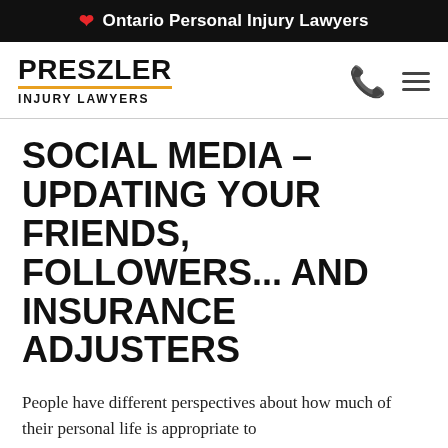Ontario Personal Injury Lawyers
[Figure (logo): Preszler Injury Lawyers logo with gold underline and navigation icons (phone and hamburger menu)]
SOCIAL MEDIA – UPDATING YOUR FRIENDS, FOLLOWERS... AND INSURANCE ADJUSTERS
People have different perspectives about how much of their personal life is appropriate to